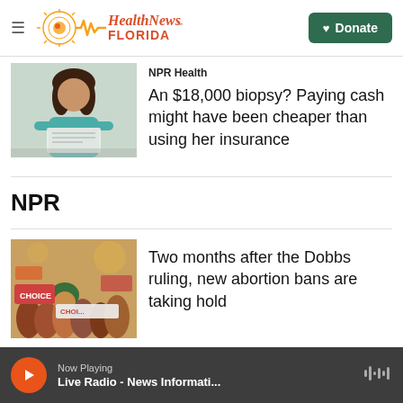Health News Florida — Donate
[Figure (photo): A Black woman holding papers, looking thoughtful, wearing a turquoise top]
NPR Health
An $18,000 biopsy? Paying cash might have been cheaper than using her insurance
NPR
[Figure (photo): Protesters at an abortion rights rally, woman holding a green handkerchief and a CHOICE sign]
Two months after the Dobbs ruling, new abortion bans are taking hold
Now Playing — Live Radio - News Informati...